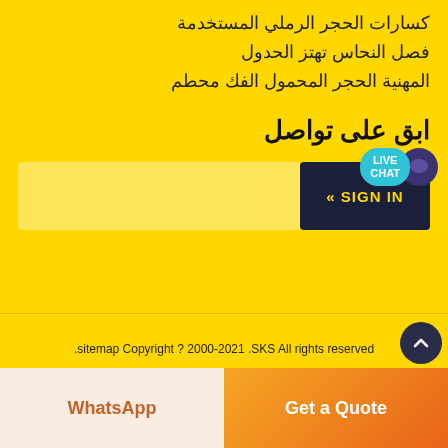كسارات الحجر الرملي المستخدمة
فصل النحاس تهتز الحدول
المهنية الحجر المحمول الفك محطم
ابق على تواصل
[Figure (screenshot): Search input field with dark navy SIGN IN button labeled « SIGN IN]
[Figure (infographic): Live Chat bubble icon: teal rounded rectangle with LIVE CHAT text and dark purple circular chat icon]
.sitemap Copyright ? 2000-2021 .SKS All rights reserved
WhatsApp
Get a Quote